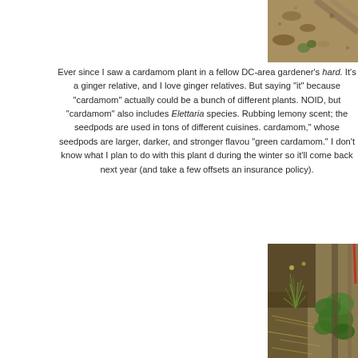[Figure (photo): Top photo showing mulched garden bed with plant debris and wooden slats]
Ever since I saw a cardamom plant in a fellow DC-area gardener's hard. It's a ginger relative, and I love ginger relatives. But saying "it" because "cardamom" actually could be a bunch of different plants. NOID, but "cardamom" also includes Elettaria species. Rubbing lemony scent; the seedpods are used in tons of different cuisines. cardamom," whose seedpods are larger, darker, and stronger flavo "green cardamom." I don't know what I plan to do with this plant d during the winter so it'll come back next year (and take a few offsets an insurance policy).
[Figure (photo): Bottom photo showing garden raised bed with small feathery green plant and large leafy plant with mulch ground cover]